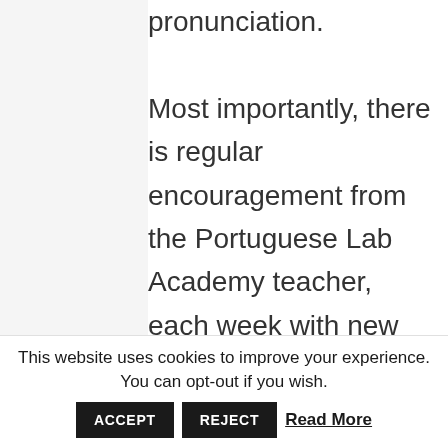pronunciation. Most importantly, there is regular encouragement from the Portuguese Lab Academy teacher, each week with new material to keep you stimulated and motivated. There is also a community where you can ask any questions on the Portuguese language with an excellent response rate, so you can
This website uses cookies to improve your experience. You can opt-out if you wish. ACCEPT REJECT Read More